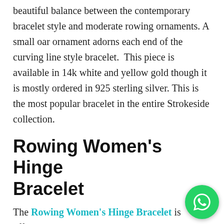beautiful balance between the contemporary bracelet style and moderate rowing ornaments. A small oar ornament adorns each end of the curving line style bracelet.  This piece is available in 14k white and yellow gold though it is mostly ordered in 925 sterling silver. This is the most popular bracelet in the entire Strokeside collection.
Rowing Women's Hinge Bracelet
The Rowing Women's Hinge Bracelet is offered in the Strokeside rowing bracelet collection as an elegant evening piece.  The unique hinged design really sets off the wire wrapped bent oar and single line design. The beautiful hand finishing is crafted by the talented folks at ARD Jewelry Studio in Brooklyn. This bracelet is usually ordered in sterling silver but is available in white and yellow 14k gold